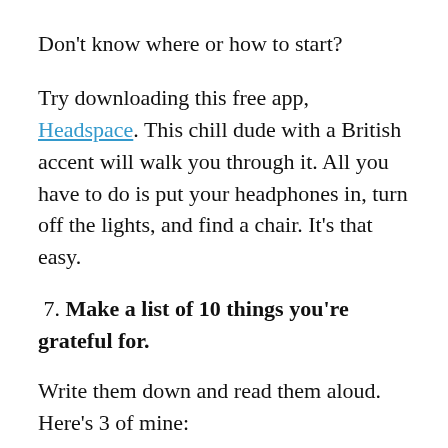Don’t know where or how to start?
Try downloading this free app, Headspace. This chill dude with a British accent will walk you through it. All you have to do is put your headphones in, turn off the lights, and find a chair. It’s that easy.
7. Make a list of 10 things you’re grateful for.
Write them down and read them aloud. Here’s 3 of mine:
I’m grateful to have a job that’s also a calling, where I get paid to do something I enjoy doing.